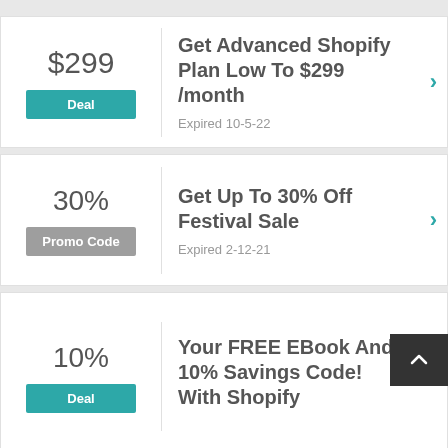$299 | Deal | Get Advanced Shopify Plan Low To $299 /month | Expired 10-5-22
30% | Promo Code | Get Up To 30% Off Festival Sale | Expired 2-12-21
10% | Deal | Your FREE EBook And 10% Savings Code! With Shopify Coupon Code